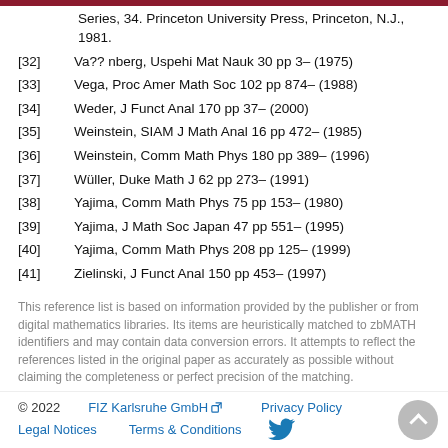Series, 34. Princeton University Press, Princeton, N.J., 1981.
[32] Va?? nberg, Uspehi Mat Nauk 30 pp 3– (1975)
[33] Vega, Proc Amer Math Soc 102 pp 874– (1988)
[34] Weder, J Funct Anal 170 pp 37– (2000)
[35] Weinstein, SIAM J Math Anal 16 pp 472– (1985)
[36] Weinstein, Comm Math Phys 180 pp 389– (1996)
[37] Wüller, Duke Math J 62 pp 273– (1991)
[38] Yajima, Comm Math Phys 75 pp 153– (1980)
[39] Yajima, J Math Soc Japan 47 pp 551– (1995)
[40] Yajima, Comm Math Phys 208 pp 125– (1999)
[41] Zielinski, J Funct Anal 150 pp 453– (1997)
This reference list is based on information provided by the publisher or from digital mathematics libraries. Its items are heuristically matched to zbMATH identifiers and may contain data conversion errors. It attempts to reflect the references listed in the original paper as accurately as possible without claiming the completeness or perfect precision of the matching.
© 2022   FIZ Karlsruhe GmbH   Privacy Policy   Legal Notices   Terms & Conditions